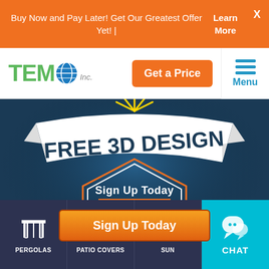Buy Now and Pay Later! Get Our Greatest Offer Yet! | Learn More
[Figure (logo): TEMO Inc. company logo with globe icon in green]
Get a Price
Menu
[Figure (illustration): FREE 3D DESIGN banner graphic on dark blue background with decorative shield and ribbon elements]
Sign Up Today
Sign Up Today
PERGOLAS
PATIO COVERS
SUN
CHAT